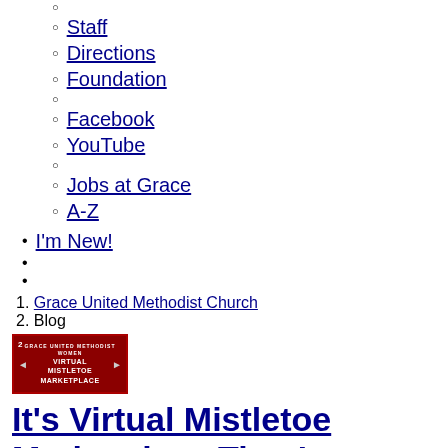○ (empty)
○ Staff
○ Directions
○ Foundation
○ (empty)
○ Facebook
○ YouTube
○ (empty)
○ Jobs at Grace
○ A-Z
• I'm New!
• (empty)
• (empty)
1. Grace United Methodist Church
2. Blog
[Figure (illustration): Red banner image with text 'Virtual Mistletoe Marketplace' and navigation arrows]
It's Virtual Mistletoe Marketplace Time!
United Methodist Women Presents